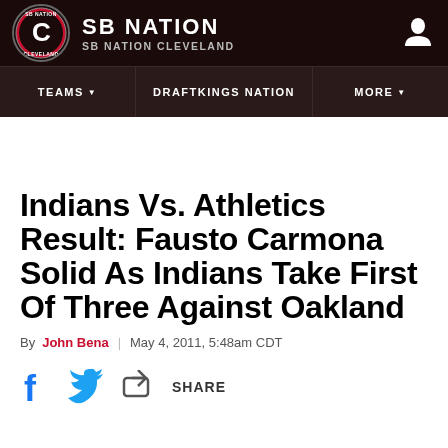SB NATION / SB NATION CLEVELAND
TEAMS | DRAFTKINGS NATION | MORE
Indians Vs. Athletics Result: Fausto Carmona Solid As Indians Take First Of Three Against Oakland
By John Bena | May 4, 2011, 5:48am CDT
f [facebook] [twitter] SHARE